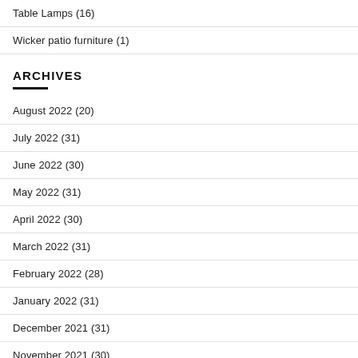Table Lamps (16)
Wicker patio furniture (1)
ARCHIVES
August 2022 (20)
July 2022 (31)
June 2022 (30)
May 2022 (31)
April 2022 (30)
March 2022 (31)
February 2022 (28)
January 2022 (31)
December 2021 (31)
November 2021 (30)
October 2021 (31)